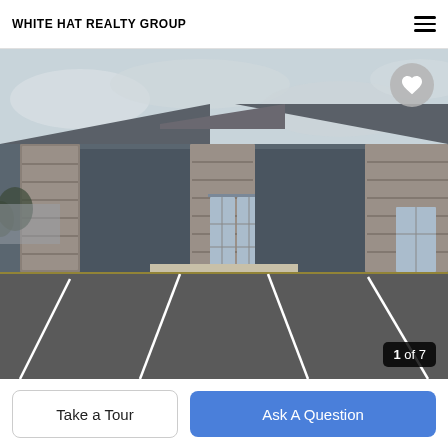WHITE HAT REALTY GROUP
[Figure (photo): Exterior photo of a modern commercial building with dark gray siding, stone columns, large glass doors, and a parking lot in the foreground. Overcast sky visible. Image counter shows 1 of 7.]
Take a Tour
Ask A Question